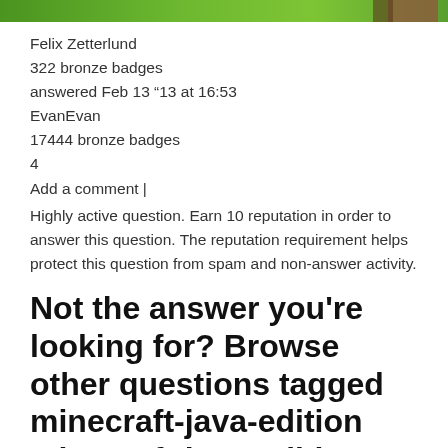[Figure (photo): Top strip of a screenshot showing a green and brown Minecraft scene]
Felix Zetterlund
322 bronze badges
answered Feb 13 ‘13 at 16:53
EvanEvan
17444 bronze badges
4
Add a comment |
Highly active question. Earn 10 reputation in order to answer this question. The reputation requirement helps protect this question from spam and non-answer activity.
Not the answer you're looking for? Browse other questions tagged minecraft-java-edition minecraft-java-edition-server